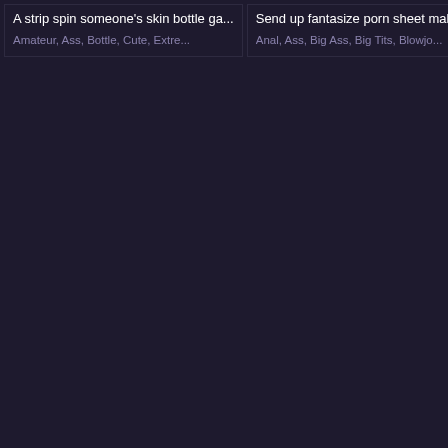A strip spin someone's skin bottle ga...
Amateur,  Ass,  Bottle,  Cute,  Extre...
Send up fantasize porn sheet makin...
Anal,  Ass,  Big Ass,  Big Tits,  Blowjo...